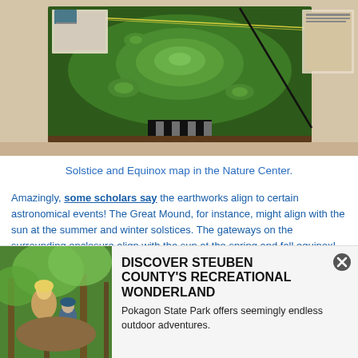[Figure (photo): Interior museum display showing a 3D topographic/earthworks map (Solstice and Equinox map) with green terrain relief, yellow string lines indicating alignments, and informational panels on the wall of the Nature Center.]
Solstice and Equinox map in the Nature Center.
Amazingly, some scholars say the earthworks align to certain astronomical events! The Great Mound, for instance, might align with the sun at the summer and winter solstices. The gateways on the surrounding enclosure align with the sun at the spring and fall equinox!
[Figure (photo): Photo of a woman and child on horseback in a lush green forest setting, promoting Steuben County recreational activities at Pokagon State Park.]
DISCOVER STEUBEN COUNTY'S RECREATIONAL WONDERLAND
Pokagon State Park offers seemingly endless outdoor adventures.